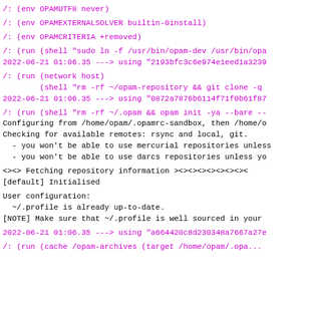/: (env OPAMUTF8 never)
/: (env OPAMEXTERNALSOLVER builtin-0install)
/: (env OPAMCRITERIA +removed)
/: (run (shell "sudo ln -f /usr/bin/opam-dev /usr/bin/opa
2022-06-21 01:06.35 ---> using "2193bfc3c6e974e1eed1a3239..."
/: (run (network host)
        (shell "rm -rf ~/opam-repository && git clone -q
2022-06-21 01:06.35 ---> using "0872a7876b6114f71f0b61f87..."
/: (run (shell "rm -rf ~/.opam && opam init -ya --bare --
Configuring from /home/opam/.opamrc-sandbox, then /home/o
Checking for available remotes: rsync and local, git.
  - you won't be able to use mercurial repositories unless
  - you won't be able to use darcs repositories unless yo
<><> Fetching repository information ><><><><><><><><
[default] Initialised
User configuration:
  ~/.profile is already up-to-date.
[NOTE] Make sure that ~/.profile is well sourced in your
2022-06-21 01:06.35 ---> using "a664420c8d230348a7667a27e..."
/: (run (cache /opam-archives (target /home/opam/.opa...